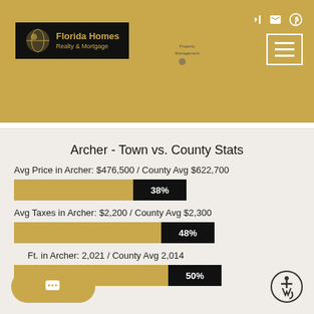[Figure (logo): Florida Homes Realty & Mortgage logo with globe icon on black background, gold text]
[Figure (logo): Property Management globe logo]
Archer - Town vs. County Stats
Avg Price in Archer: $476,500 / County Avg $622,700
[Figure (bar-chart): Avg Price bar]
Avg Taxes in Archer: $2,200 / County Avg $2,300
[Figure (bar-chart): Avg Taxes bar]
Sq Ft. in Archer: 2,021 / County Avg 2,014
[Figure (bar-chart): Sq Ft bar]